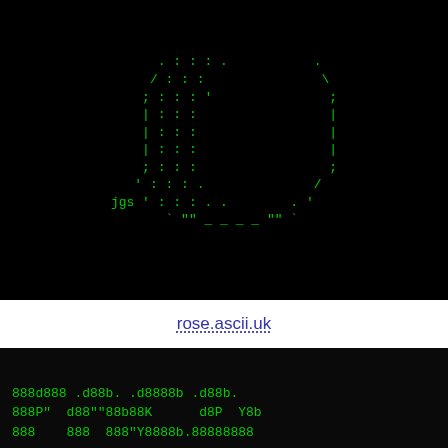[Figure (illustration): ASCII art of a rose/lantern shape on black background, with artist signature 'jgs', using characters like |, :, ;, /, \, backquotes and dashes]
rose.ascii.uk
[Figure (screenshot): ASCII art text on black background showing stylized large letters: '888d888 .d88b. .d8888b .d88b.' / '888P" d88""88b88K d8P Y8b' / '888 888 888"Y8888b.88888888']